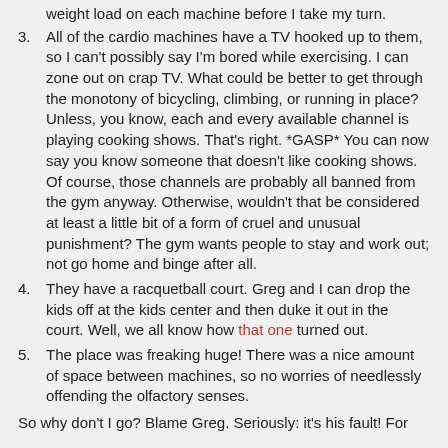weight load on each machine before I take my turn.
3. All of the cardio machines have a TV hooked up to them, so I can't possibly say I'm bored while exercising. I can zone out on crap TV. What could be better to get through the monotony of bicycling, climbing, or running in place? Unless, you know, each and every available channel is playing cooking shows. That's right. *GASP* You can now say you know someone that doesn't like cooking shows. Of course, those channels are probably all banned from the gym anyway. Otherwise, wouldn't that be considered at least a little bit of a form of cruel and unusual punishment? The gym wants people to stay and work out; not go home and binge after all.
4. They have a racquetball court. Greg and I can drop the kids off at the kids center and then duke it out in the court. Well, we all know how that one turned out.
5. The place was freaking huge! There was a nice amount of space between machines, so no worries of needlessly offending the olfactory senses.
So why don't I go? Blame Greg. Seriously: it's his fault! For